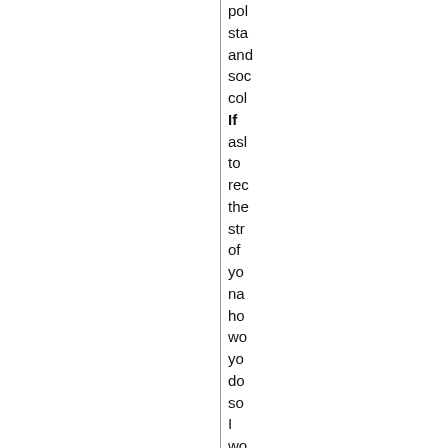pol sta and soc col If asl to rec the str of yo na ho wo yo do so I wo we the aut of